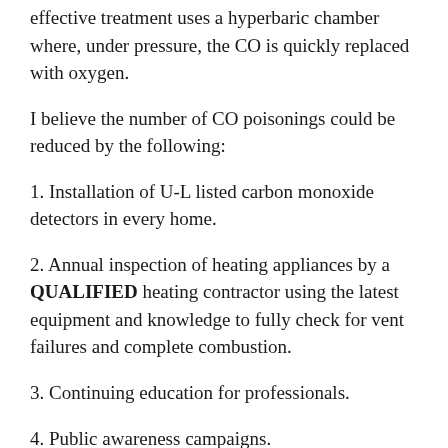effective treatment uses a hyperbaric chamber where, under pressure, the CO is quickly replaced with oxygen.
I believe the number of CO poisonings could be reduced by the following:
1. Installation of U-L listed carbon monoxide detectors in every home.
2. Annual inspection of heating appliances by a QUALIFIED heating contractor using the latest equipment and knowledge to fully check for vent failures and complete combustion.
3. Continuing education for professionals.
4. Public awareness campaigns.
5. Installation of sealed-combustion direct-vent heating